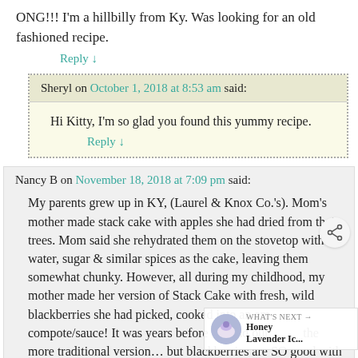ONG!!! I'm a hillbilly from Ky. Was looking for an old fashioned recipe.
Reply ↓
Sheryl on October 1, 2018 at 8:53 am said:
Hi Kitty, I'm so glad you found this yummy recipe.
Reply ↓
Nancy B on November 18, 2018 at 7:09 pm said:
My parents grew up in KY, (Laurel & Knox Co.'s). Mom's mother made stack cake with apples she had dried from their trees. Mom said she rehydrated them on the stovetop with water, sugar & similar spices as the cake, leaving them somewhat chunky. However, all during my childhood, my mother made her version of Stack Cake with fresh, wild blackberries she had picked, cooked into an amazing compote/sauce! It was years before I found out about the more traditional version… but blackberries are SO good with the gingerbread cakes! … one of these days, I WILL try
[Figure (other): Share icon button (circular, with network share symbol)]
[Figure (other): What's Next thumbnail - Honey Lavender Ic... circular image of lavender ice cream]